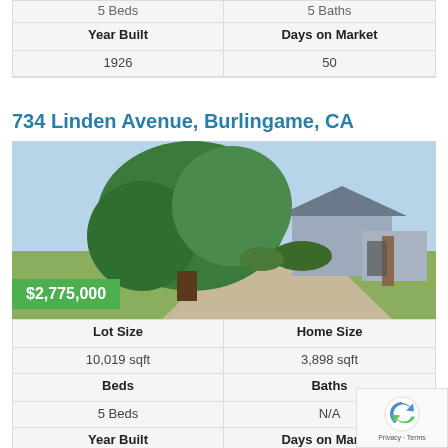|  |  |
| --- | --- |
| 5 Beds | 5 Baths |
| Year Built | Days on Market |
| 1926 | 50 |
734 Linden Avenue, Burlingame, CA
[Figure (photo): Exterior photo of 734 Linden Avenue, Burlingame, CA — a white house with a large green tree in front, driveway with gate, price badge showing $2,775,000]
| Lot Size | Home Size |
| --- | --- |
| 10,019 sqft | 3,898 sqft |
| Beds | Baths |
| 5 Beds | N/A |
| Year Built | Days on Market |
| 1926 | 50 |